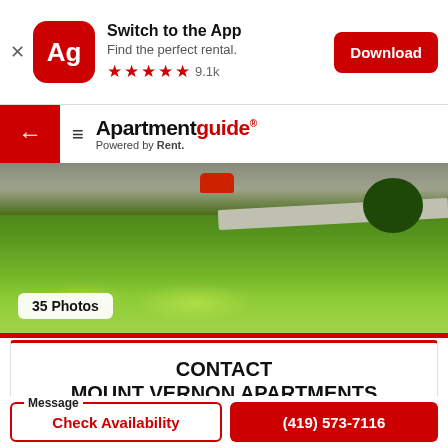[Figure (screenshot): App download banner with Apartmentguide Ag icon, Switch to the App text, Find the perfect rental, 5 stars 9.1k rating, and Download button]
Apartmentguide® Powered by Rent.
[Figure (photo): Exterior photo of apartment property showing green lawn, sidewalk, trees, and a red vehicle. Badge shows 35 Photos.]
CONTACT
MOUNT VERNON APARTMENTS
(419) 573-7116
Message
Check Availability
(419) 573-7116